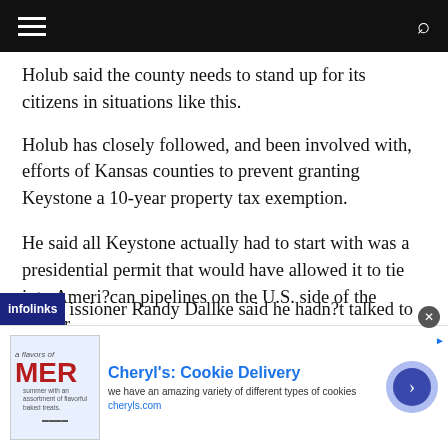Navigation bar with hamburger menu and search icon
Holub said the county needs to stand up for its citizens in situations like this.
Holub has closely followed, and been involved with, efforts of Kansas counties to prevent granting Keystone a 10-year property tax exemption.
He said all Keystone actually had to start with was a presidential permit that would have allowed it to tie into Ameri?can pipelines on the U.S. side of the border.
issioner Randy Dallke said he hadn?t talked to
[Figure (screenshot): Infolinks advertisement banner overlay at bottom of article page, containing a Cheryl's Cookie Delivery ad with image, title, description, URL and navigation arrow button]